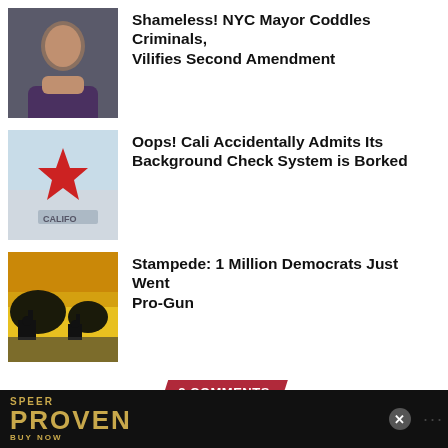[Figure (photo): Thumbnail photo of NYC Mayor]
Shameless! NYC Mayor Coddles Criminals, Vilifies Second Amendment
[Figure (photo): Thumbnail photo of California flag]
Oops! Cali Accidentally Admits Its Background Check System is Borked
[Figure (photo): Thumbnail of savanna with elephants silhouette]
Stampede: 1 Million Democrats Just Went Pro-Gun
2 COMMENTS
TIM BRICK
May 26, 2022 at 3:27 pm
[Figure (photo): Advertisement banner: SPEER PROVEN BUY NOW]